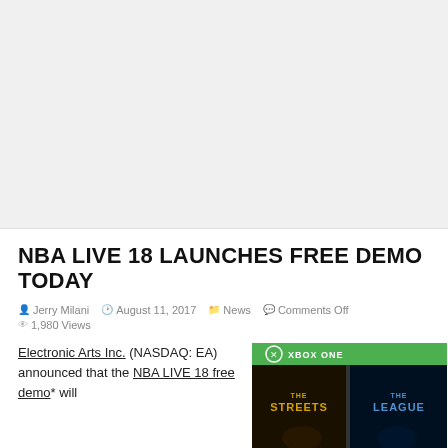[Figure (other): Gray advertisement/banner placeholder area at top of page]
NBA LIVE 18 LAUNCHES FREE DEMO TODAY
by Jerry Milani  August 11, 2017  News  Comments Off  1,980 Views
Electronic Arts Inc. (NASDAQ: EA) announced that the NBA LIVE 18 free demo* will
[Figure (screenshot): NBA Live 18 Xbox One game box art showing 'THE STREETS THE LEAGUE' on a green Xbox One cover]